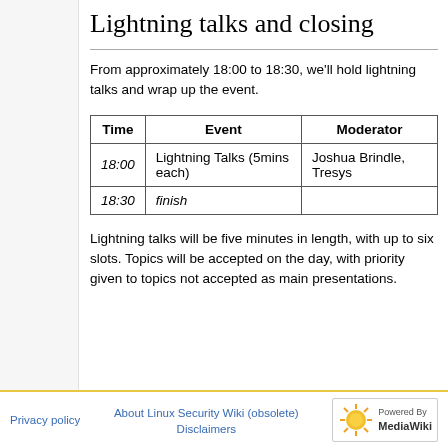Lightning talks and closing
From approximately 18:00 to 18:30, we'll hold lightning talks and wrap up the event.
| Time | Event | Moderator |
| --- | --- | --- |
| 18:00 | Lightning Talks (5mins each) | Joshua Brindle, Tresys |
| 18:30 | finish |  |
Lightning talks will be five minutes in length, with up to six slots. Topics will be accepted on the day, with priority given to topics not accepted as main presentations.
Privacy policy   About Linux Security Wiki (obsolete)   Disclaimers   Powered By MediaWiki